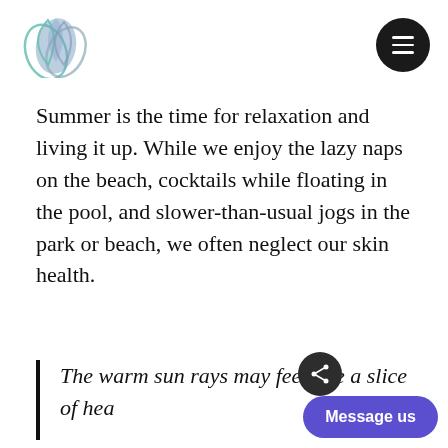[Figure (logo): Leaf/petal logo made of overlapping shapes in teal and blue-gray tones]
[Figure (other): Black circular hamburger menu button with three white horizontal lines]
Summer is the time for relaxation and living it up. While we enjoy the lazy naps on the beach, cocktails while floating in the pool, and slower-than-usual jogs in the park or beach, we often neglect our skin health.
The warm sun rays may feel like a slice of hea...